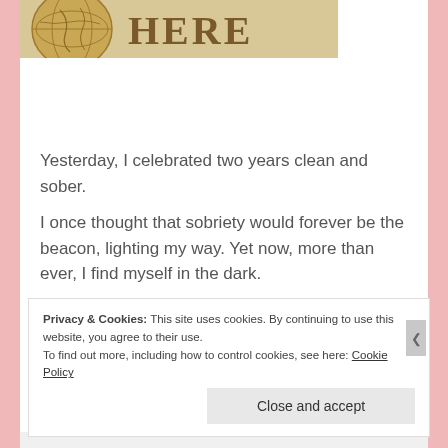[Figure (illustration): Partial book cover image showing a globe/world graphic on the left and large text 'HERE' on a tan/cream background]
Yesterday, I celebrated two years clean and sober.
I once thought that sobriety would forever be the beacon, lighting my way. Yet now, more than ever, I find myself in the dark.
Privacy & Cookies: This site uses cookies. By continuing to use this website, you agree to their use. To find out more, including how to control cookies, see here: Cookie Policy
Close and accept